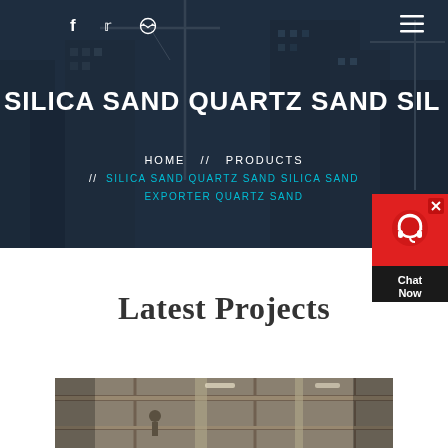[Figure (photo): Hero banner with dark overlay showing construction site with cranes and buildings]
SILICA SAND QUARTZ SAND SIL...
HOME // PRODUCTS // SILICA SAND QUARTZ SAND SILICA SAND EXPORTER QUARTZ SAND
[Figure (screenshot): Chat Now widget with headset icon on dark background]
Latest Projects
[Figure (photo): Construction/industrial facility interior photo]